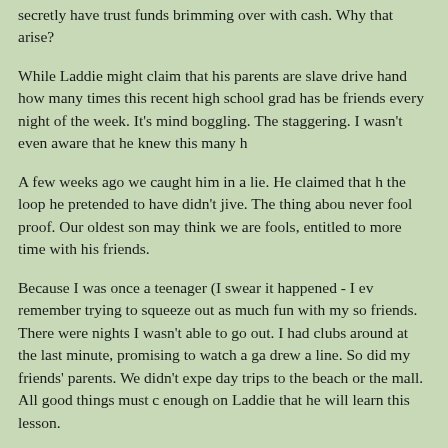secretly have trust funds brimming over with cash.  Why that arise?
While Laddie might claim that his parents are slave drive hand how many times this recent high school grad has be friends every night of the week.  It's mind boggling.  The staggering.  I wasn't even aware that he knew this many h
A few weeks ago we caught him in a lie.  He claimed that h the loop he pretended to have didn't jive.  The thing abou never fool proof.  Our oldest son may think we are fools, entitled to more time with his friends.
Because I was once a teenager (I swear it happened - I ev remember trying to squeeze out as much fun with my so friends.  There were nights I wasn't able to go out.  I had clubs around at the last minute, promising to watch a ga drew a line.  So did my friends' parents.  We didn't expe day trips to the beach or the mall.  All good things must c enough on Laddie that he will learn this lesson.